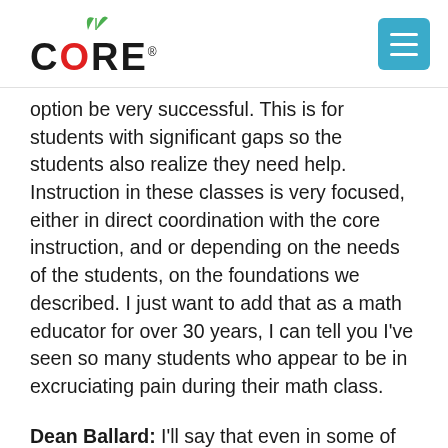CORE (logo with menu button)
option be very successful. This is for students with significant gaps so the students also realize they need help. Instruction in these classes is very focused, either in direct coordination with the core instruction, and or depending on the needs of the students, on the foundations we described. I just want to add that as a math educator for over 30 years, I can tell you I've seen so many students who appear to be in excruciating pain during their math class.
Dean Ballard: I'll say that even in some of my math classes, and I do a lot to try to engage kids and make it meaningful for them. But unfortunately, I've seen so many kids have … They just resign themselves to sit through that pain for one hour every single day. Perhaps all the way through 11th